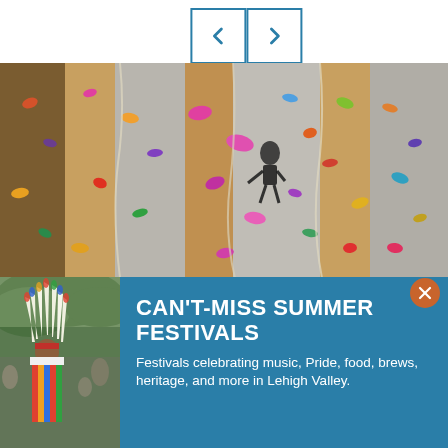[Figure (screenshot): Navigation previous and next arrow buttons with blue borders on white background]
[Figure (photo): Indoor rock climbing wall with colorful holds in pink, purple, orange, yellow and other colors on grey and wooden panel surfaces]
[Figure (photo): Person in Native American traditional regalia with feathered headdress at outdoor festival]
CAN'T-MISS SUMMER FESTIVALS
Festivals celebrating music, Pride, food, brews, heritage, and more in Lehigh Valley.